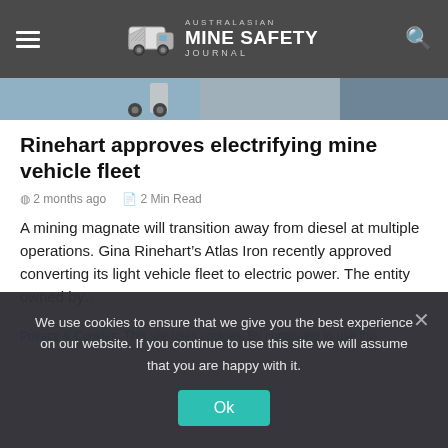Australasian Mine Safety Journal
[Figure (photo): Partial view of mining vehicle/equipment, hero image strip]
Rinehart approves electrifying mine vehicle fleet
2 months ago   2 Min Read
A mining magnate will transition away from diesel at multiple operations. Gina Rinehart’s Atlas Iron recently approved converting its light vehicle fleet to electric power. The entity owned by…
Privacy & Cookies: This site uses cookies. By continuing to use this
We use cookies to ensure that we give you the best experience on our website. If you continue to use this site we will assume that you are happy with it.